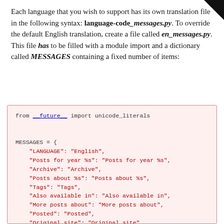Each language that you wish to support has its own translation file in the following syntax: language-code_messages.py. To override the default English translation, create a file called en_messages.py. This file has to be filled with a module import and a dictionary called MESSAGES containing a fixed number of items:
[Figure (screenshot): Code block showing Python file with from __future__ import unicode_literals and MESSAGES dictionary with string keys and values for internationalization.]